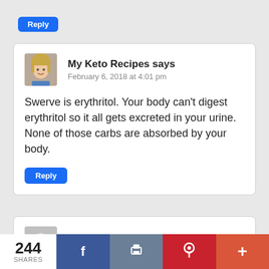Reply
My Keto Recipes says
February 6, 2018 at 4:01 pm
Swerve is erythritol. Your body can't digest erythritol so it all gets excreted in your urine. None of those carbs are absorbed by your body.
Reply
MEg says
244 SHARES